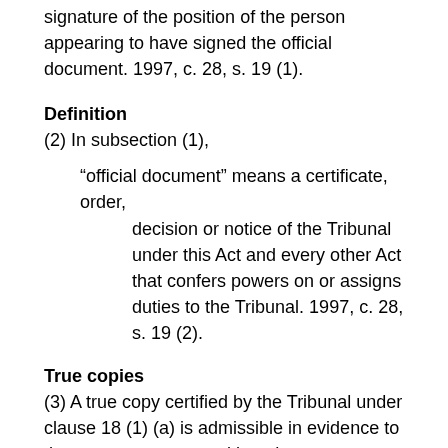signature of the position of the person appearing to have signed the official document. 1997, c. 28, s. 19 (1).
Definition
(2) In subsection (1),
“official document” means a certificate, order, decision or notice of the Tribunal under this Act and every other Act that confers powers on or assigns duties to the Tribunal. 1997, c. 28, s. 19 (2).
True copies
(3) A true copy certified by the Tribunal under clause 18 (1) (a) is admissible in evidence to the same extent as and has the same evidentiary value as the document or thing of which it is a